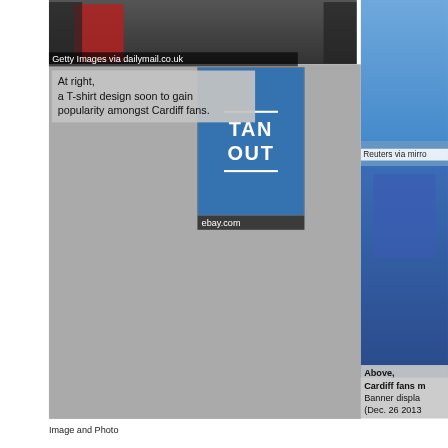[Figure (photo): Photo of people at a sports event, top portion visible, man in red shirt prominent. Getty Images via dailymail.co.uk watermark.]
Getty Images via dailymail.co.uk
[Figure (photo): Blue Cardiff City football fans in stadium seating, right column top photo.]
Reuters via mirro
[Figure (photo): Blue Cardiff City T-shirt with text TAN OUT from ebay.com]
At right, a T-shirt design soon to gain popularity amongst Cardiff fans.
ebay.com
[Figure (photo): Cardiff fan in blue shirt with hand on head, distressed expression.]
Above, Cardiff fans m Banner displa (Dec. 26 2013
Image and Photo